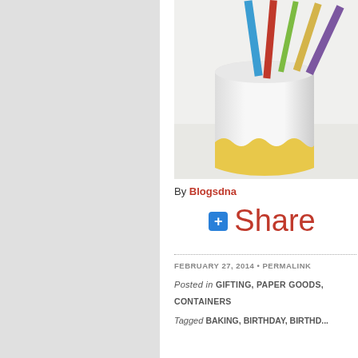[Figure (photo): A white paper cup/container with colorful paper sticks (blue, red, green, yellow, purple) inserted in the top, with a yellow wavy decorative base, on a white surface.]
By Blogsdna
+ Share
FEBRUARY 27, 2014 • PERMALINK
Posted in GIFTING, PAPER GOODS,
CONTAINERS
Tagged BAKING, BIRTHDAY, BIRTHD...